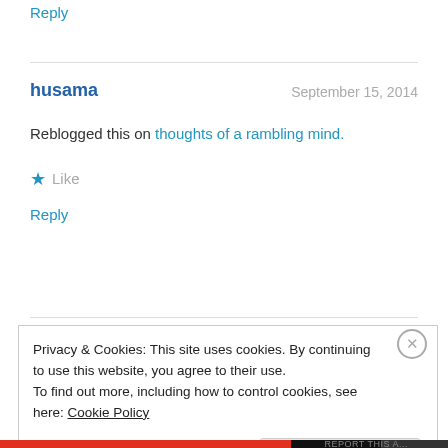Reply
husama
September 15, 2014
Reblogged this on thoughts of a rambling mind.
Like
Reply
Privacy & Cookies: This site uses cookies. By continuing to use this website, you agree to their use.
To find out more, including how to control cookies, see here: Cookie Policy
Close and accept